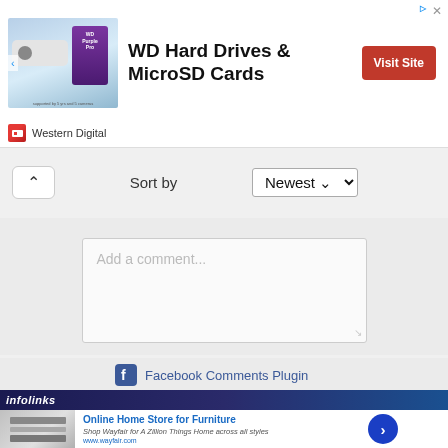[Figure (screenshot): WD Hard Drives & MicroSD Cards advertisement banner with product image on left, bold text in center, and red Visit Site button on right. Western Digital logo at bottom left.]
Sort by Newest
Add a comment...
Facebook Comments Plugin
[Figure (screenshot): Infolinks advertisement bar with logo and Wayfair Online Home Store for Furniture ad below it. Shop Wayfair for A Zillion Things Home across all styles. www.wayfair.com]